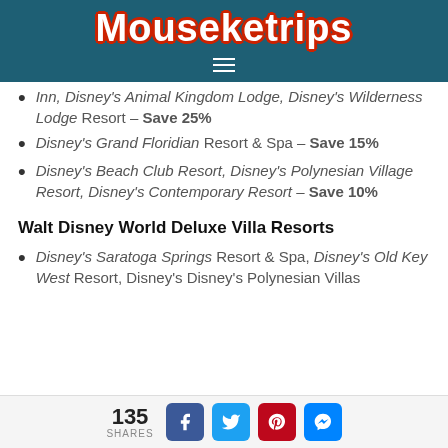Mouseketrips
Inn, Disney's Animal Kingdom Lodge, Disney's Wilderness Lodge Resort – Save 25%
Disney's Grand Floridian Resort & Spa – Save 15%
Disney's Beach Club Resort, Disney's Polynesian Village Resort, Disney's Contemporary Resort – Save 10%
Walt Disney World Deluxe Villa Resorts
Disney's Saratoga Springs Resort & Spa, Disney's Old Key West Resort, Disney's Disney's Polynesian Villas
135 SHARES